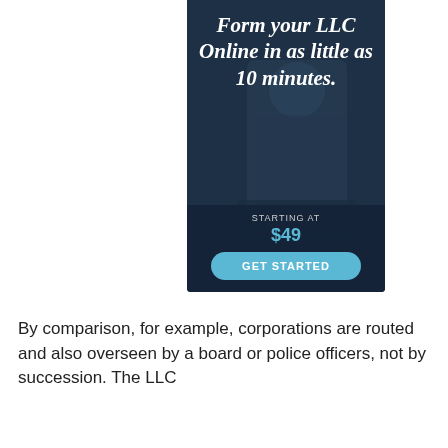[Figure (infographic): Advertisement banner for LLC formation service. Dark blue background with a person in the background. White italic text reads 'Form your LLC Online in as little as 10 minutes.' Below shows 'STARTING AT' label, '$49' price in blue, and a light blue rounded 'GET STARTED' button.]
By comparison, for example, corporations are routed and also overseen by a board or police officers, not by succession. The LLC